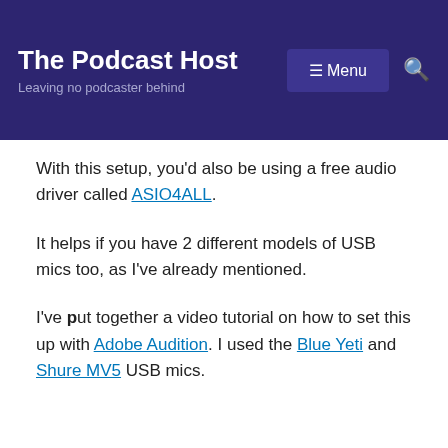The Podcast Host — Leaving no podcaster behind
With this setup, you'd also be using a free audio driver called ASIO4ALL.
It helps if you have 2 different models of USB mics too, as I've already mentioned.
I've put together a video tutorial on how to set this up with Adobe Audition. I used the Blue Yeti and Shure MV5 USB mics.